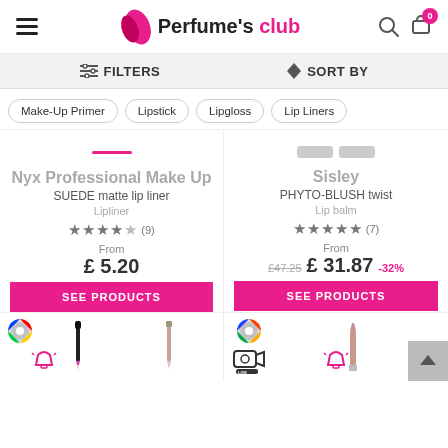Perfume's club
FILTERS   SORT BY
Make-Up Primer
Lipstick
Lipgloss
Lip Liners
Nyx Professional Make Up
SUEDE matte lip liner
Lipliner
★★★★☆ (9)
From
£ 5.20
Sisley
PHYTO-BLUSH twist
Lip balm
★★★★★ (7)
From
£47.25  £ 31.87  -32%
SEE PRODUCTS
SEE PRODUCTS